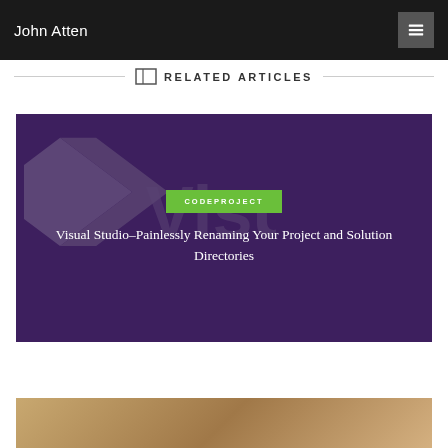John Atten
RELATED ARTICLES
[Figure (illustration): Purple card with Visual Studio logo watermark in grey, a green CODEPROJECT badge, and article title text in white]
Visual Studio–Painlessly Renaming Your Project and Solution Directories
[Figure (photo): Partial bottom card with warm earthy/brown tones, partial image visible]